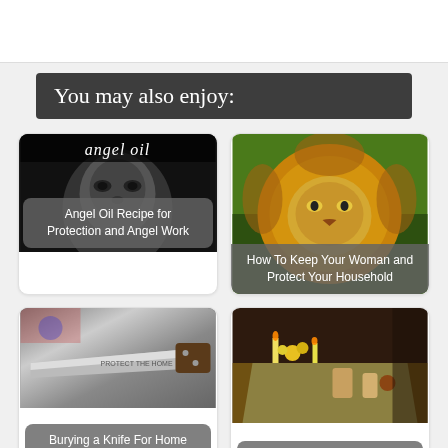You may also enjoy:
[Figure (photo): Black and white photo of a person's face with the text 'angel oil' overlaid at the top]
Angel Oil Recipe for Protection and Angel Work
[Figure (photo): Photo of a lion with a full mane, looking forward]
How To Keep Your Woman and Protect Your Household
[Figure (photo): Photo of a knife or blade with metallic surface]
Burying a Knife For Home Protection
[Figure (photo): Photo of what appears to be a ritual altar with candles, flowers and objects on a table]
Love Spells and Workings